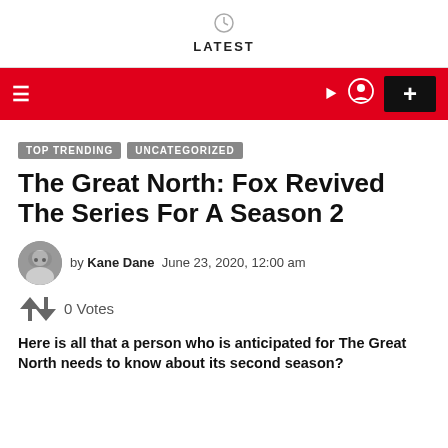LATEST
TOP TRENDING  UNCATEGORIZED
The Great North: Fox Revived The Series For A Season 2
by Kane Dane  June 23, 2020, 12:00 am
0 Votes
Here is all that a person who is anticipated for The Great North needs to know about its second season?